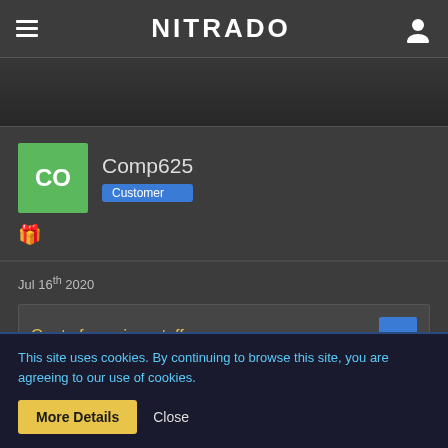NITRADO
[Figure (screenshot): Dark background area below navigation bar]
Comp625 Customer
Jul 16th 2020
Quote from xjeepstuffx
Mines the same way been waiting pretty much all day.
This site uses cookies. By continuing to browse this site, you are agreeing to our use of cookies.